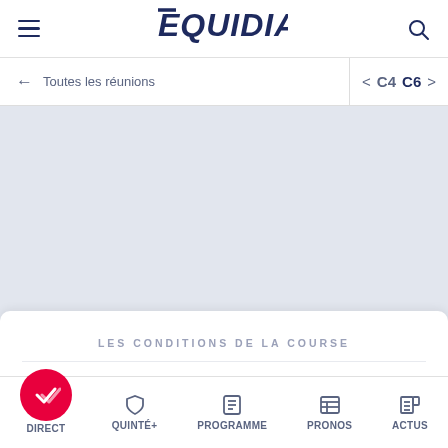EQUIDIA
← Toutes les réunions  < C4  C6 >
[Figure (screenshot): Light grey empty content area below the navigation bar]
LES CONDITIONS DE LA COURSE
DIRECT  QUINTÉ+  PROGRAMME  PRONOS  ACTUS